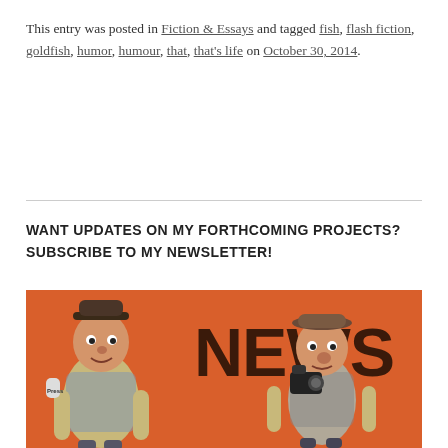This entry was posted in Fiction & Essays and tagged fish, flash fiction, goldfish, humor, humour, that, that's life on October 30, 2014.
WANT UPDATES ON MY FORTHCOMING PROJECTS? SUBSCRIBE TO MY NEWSLETTER!
[Figure (illustration): Orange background illustration showing the word NEWS in large bold dark brown letters, with two cartoon reporter/journalist figurines — one holding a press microphone on the left, one holding a camera on the right.]